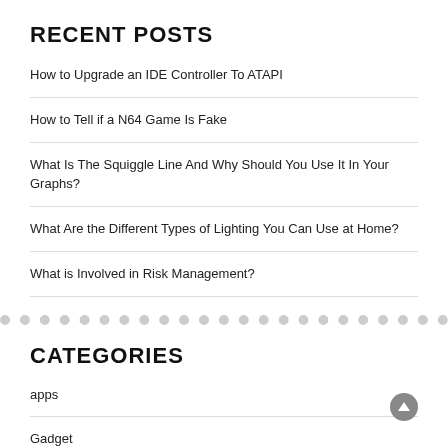RECENT POSTS
How to Upgrade an IDE Controller To ATAPI
How to Tell if a N64 Game Is Fake
What Is The Squiggle Line And Why Should You Use It In Your Graphs?
What Are the Different Types of Lighting You Can Use at Home?
What is Involved in Risk Management?
CATEGORIES
apps
Gadget
Games